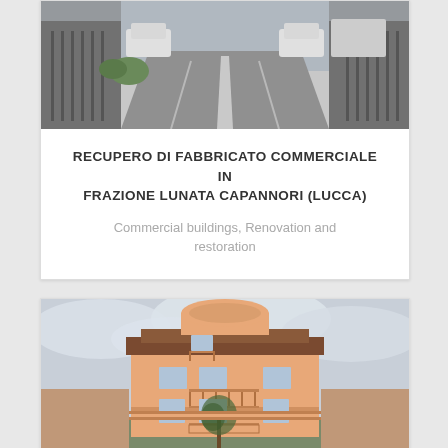[Figure (photo): Photograph of a road/driveway with parked cars and gates on both sides, taken from street level looking ahead]
RECUPERO DI FABBRICATO COMMERCIALE IN FRAZIONE LUNATA CAPANNORI (LUCCA)
Commercial buildings, Renovation and restoration
[Figure (photo): Photograph of a historic Italian villa/residential building with salmon-pink facade, balconies, ornate architectural details, and a tree in front, under a cloudy sky]